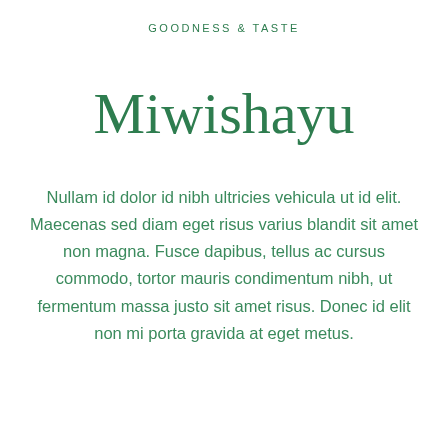GOODNESS & TASTE
Miwishayu
Nullam id dolor id nibh ultricies vehicula ut id elit. Maecenas sed diam eget risus varius blandit sit amet non magna. Fusce dapibus, tellus ac cursus commodo, tortor mauris condimentum nibh, ut fermentum massa justo sit amet risus. Donec id elit non mi porta gravida at eget metus.